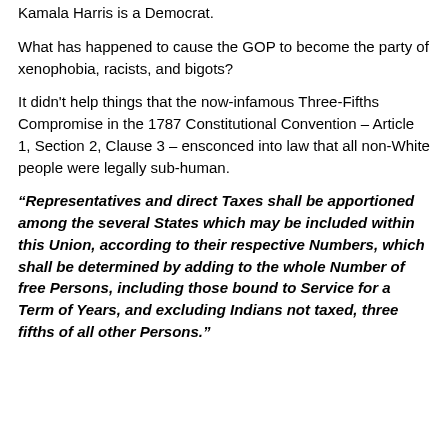Kamala Harris is a Democrat.
What has happened to cause the GOP to become the party of xenophobia, racists, and bigots?
It didn't help things that the now-infamous Three-Fifths Compromise in the 1787 Constitutional Convention – Article 1, Section 2, Clause 3 – ensconced into law that all non-White people were legally sub-human.
“Representatives and direct Taxes shall be apportioned among the several States which may be included within this Union, according to their respective Numbers, which shall be determined by adding to the whole Number of free Persons, including those bound to Service for a Term of Years, and excluding Indians not taxed, three fifths of all other Persons.”